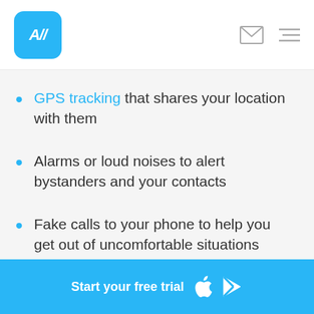[Figure (logo): App logo: blue rounded square with white 'All' text]
GPS tracking that shares your location with them
Alarms or loud noises to alert bystanders and your contacts
Fake calls to your phone to help you get out of uncomfortable situations
Start your free trial